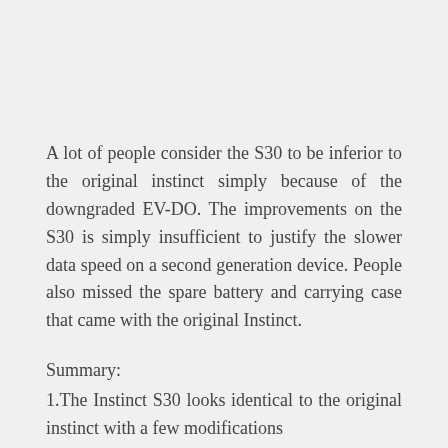A lot of people consider the S30 to be inferior to the original instinct simply because of the downgraded EV-DO. The improvements on the S30 is simply insufficient to justify the slower data speed on a second generation device. People also missed the spare battery and carrying case that came with the original Instinct.
Summary:
1.The Instinct S30 looks identical to the original instinct with a few modifications
2.The call quality of the S30 has been improved...